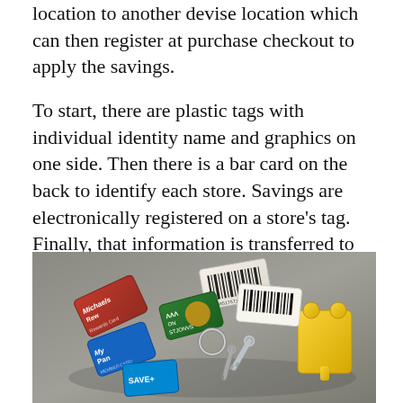location to another devise location which can then register at purchase checkout to apply the savings.
To start, there are plastic tags with individual identity name and graphics on one side. Then there is a bar card on the back to identify each store. Savings are electronically registered on a store's tag. Finally, that information is transferred to the cash register at purchase.
[Figure (photo): A photograph of a keychain holding multiple store loyalty card tags including Michaels Rewards, My Pantry, and others with barcodes, along with keys and a yellow novelty keychain piece.]